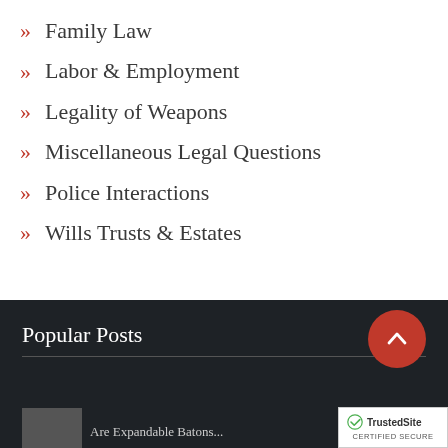Family Law
Labor & Employment
Legality of Weapons
Miscellaneous Legal Questions
Police Interactions
Wills Trusts & Estates
Popular Posts
[Figure (logo): TrustedSite certified secure badge with green checkmark]